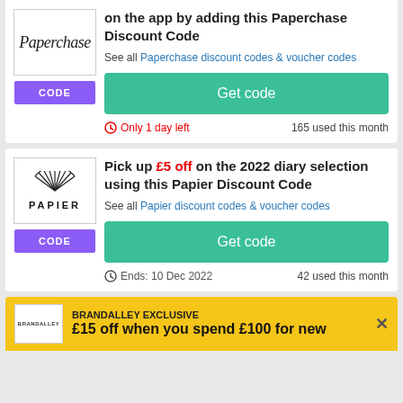[Figure (logo): Paperchase logo in italic script font]
CODE
Get an extra 20% off your first order on the app by adding this Paperchase Discount Code
See all Paperchase discount codes & voucher codes
Get code
Only 1 day left
165 used this month
[Figure (logo): Papier logo with decorative feather/leaf graphic above the word PAPIER]
CODE
Pick up £5 off on the 2022 diary selection using this Papier Discount Code
See all Papier discount codes & voucher codes
Get code
Ends: 10 Dec 2022
42 used this month
BRANDALLEY EXCLUSIVE
£15 off when you spend £100 for new